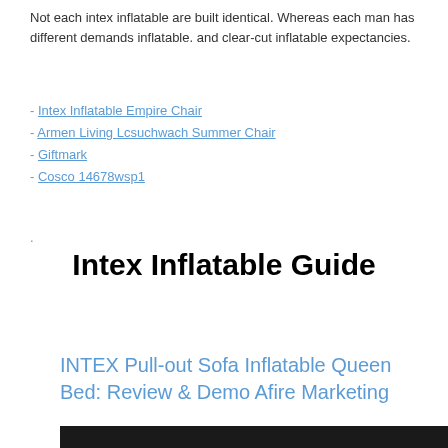Not each intex inflatable are built identical. Whereas each man has different demands inflatable. and clear-cut inflatable expectancies.
- Intex Inflatable Empire Chair
- Armen Living Lcsuchwach Summer Chair
- Giftmark
- Cosco 14678wsp1
.
Intex Inflatable Guide
INTEX Pull-out Sofa Inflatable Queen Bed: Review & Demo Afire Marketing